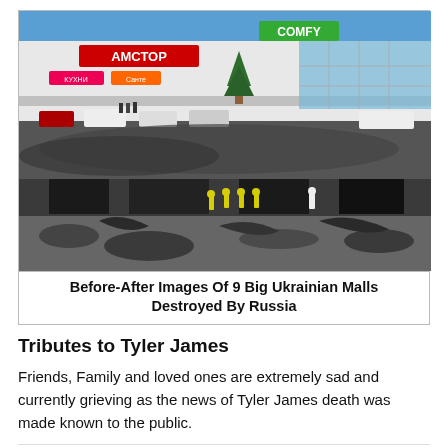[Figure (photo): Two-panel before-and-after composite photo. Top panel: Amctor (Ukrainian) shopping mall before destruction, with store signs including АМСТОР and COMFY, a Christmas tree, cars in parking lot, blue sky. Bottom panel: Same or similar mall after destruction by fire/bombing – firefighters amid rubble, burned debris, smoke damage.]
Before-After Images Of 9 Big Ukrainian Malls Destroyed By Russia
Tributes to Tyler James
Friends, Family and loved ones are extremely sad and currently grieving as the news of Tyler James death was made known to the public.
INTERESTING FOR YOU